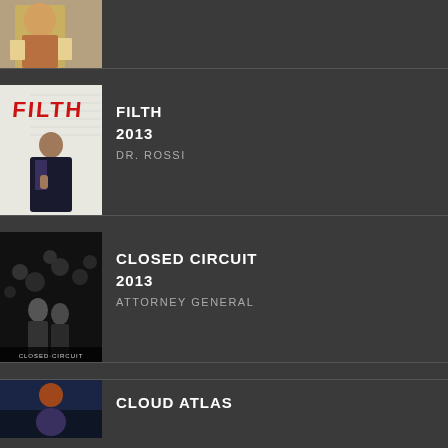[Figure (photo): Partial top entry: person reading a book, movie poster thumbnail, partially visible]
[Figure (photo): Filth (2013) movie poster showing James McAvoy in a detective coat]
FILTH
2013
DR. ROSSI
[Figure (photo): Closed Circuit (2013) movie poster showing crowd in black and white]
CLOSED CIRCUIT
2013
ATTORNEY GENERAL
[Figure (photo): Cloud Atlas movie poster, partially visible at bottom]
CLOUD ATLAS